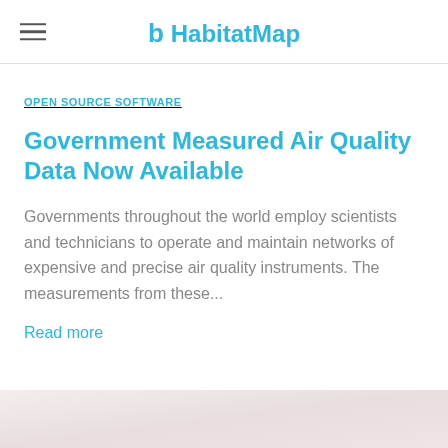HabitatMap
OPEN SOURCE SOFTWARE
Government Measured Air Quality Data Now Available
Governments throughout the world employ scientists and technicians to operate and maintain networks of expensive and precise air quality instruments. The measurements from these...
Read more
[Figure (photo): Blurred background image at bottom of page, pinkish/beige tones]